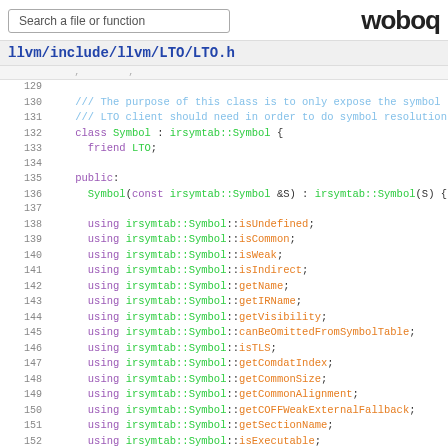Search a file or function | woboq
llvm/include/llvm/LTO/LTO.h
[Figure (screenshot): C++ source code viewer showing lines 129-154 of llvm/include/llvm/LTO/LTO.h with syntax highlighting. Shows a Symbol class definition inheriting from irsymtab::Symbol with using declarations for various symbol methods.]